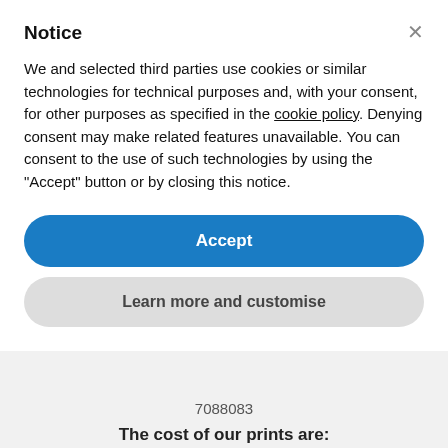Notice
We and selected third parties use cookies or similar technologies for technical purposes and, with your consent, for other purposes as specified in the cookie policy. Denying consent may make related features unavailable. You can consent to the use of such technologies by using the "Accept" button or by closing this notice.
Accept
Learn more and customise
7088083
The cost of our prints are:
€ 25 for 12" x 8" size
€ 45 for 18" x 12" size
€ 79 for 24" x 16" size